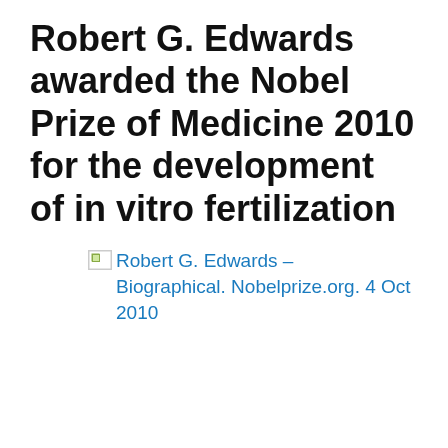Robert G. Edwards awarded the Nobel Prize of Medicine 2010 for the development of in vitro fertilization
[Figure (other): Broken image placeholder with link text: Robert G. Edwards – Biographical. Nobelprize.org. 4 Oct 2010]